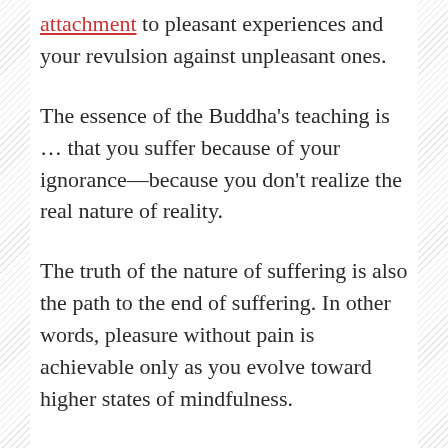attachment to pleasant experiences and your revulsion against unpleasant ones.
The essence of the Buddha's teaching is ... that you suffer because of your ignorance—because you don't realize the real nature of reality.
The truth of the nature of suffering is also the path to the end of suffering. In other words, pleasure without pain is achievable only as you evolve toward higher states of mindfulness.